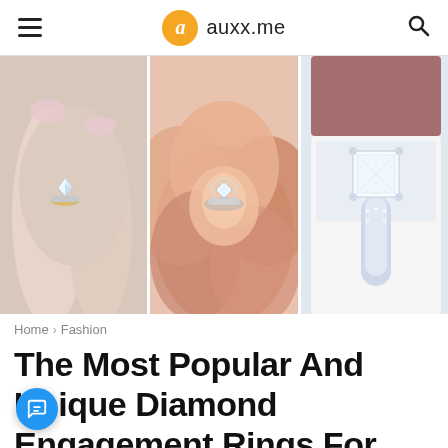auxx.me
[Figure (photo): Three panel image strip showing diamond engagement rings: left panel shows a solitaire ring on a finger with pink manicure, center panel shows a halo diamond ring resting in a pink rose flower, right panel shows a large princess-cut diamond ring with pave band in a jewelry box]
Home › Fashion
The Most Popular And Unique Diamond Engagement Rings For 2020